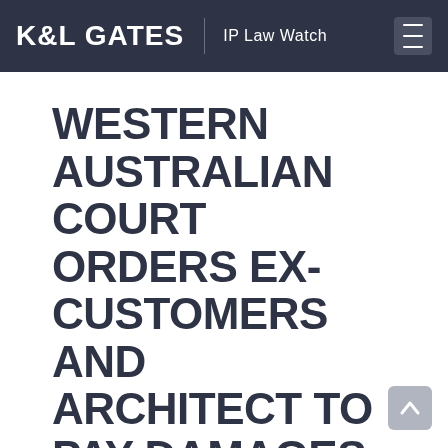K&L GATES  IP Law Watch
WESTERN AUSTRALIAN COURT ORDERS EX-CUSTOMERS AND ARCHITECT TO PAY DAMAGES TO HOUSE DESIGNER FOR UNAUTHORISED USE